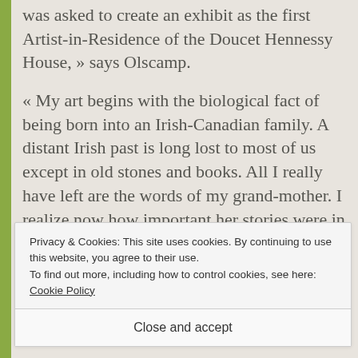was asked to create an exhibit as the first Artist-in-Residence of the Doucet Hennessy House, » says Olscamp.
« My art begins with the biological fact of being born into an Irish-Canadian family. A distant Irish past is long lost to most of us except in old stones and books. All I really have left are the words of my grand-mother. I realize now how important her stories were in shaping me and influencing my art. I sketch from old photos while trying to recall
Privacy & Cookies: This site uses cookies. By continuing to use this website, you agree to their use.
To find out more, including how to control cookies, see here: Cookie Policy
Close and accept